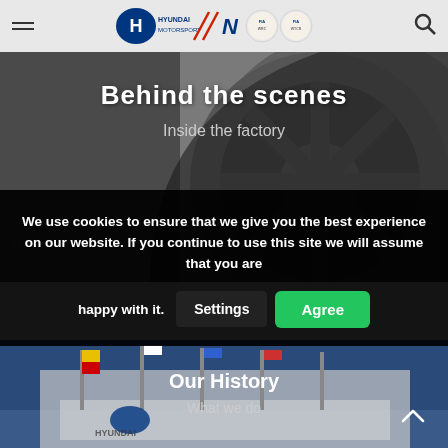Hyundai Motorsport navigation bar with hamburger menu, Hyundai Motorsport logo, FIA championship badges, and search icon
[Figure (photo): Close-up of a dark racing car wheel/tire in black and white background]
Behind the scenes
Inside the factory
We use cookies to ensure that we give you the best experience on our website. If you continue to use this site we will assume that you are happy with it.
Settings
Agree
[Figure (photo): Hyundai Motorsport factory building exterior with flags and Hyundai signage]
Our History
What we do